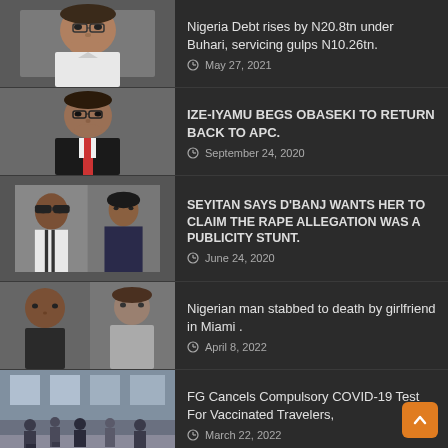Nigeria Debt rises by N20.8tn under Buhari, servicing gulps N10.26tn. | May 27, 2021
IZE-IYAMU BEGS OBASEKI TO RETURN BACK TO APC. | September 24, 2020
SEYITAN SAYS D'BANJ WANTS HER TO CLAIM THE RAPE ALLEGATION WAS A PUBLICITY STUNT. | June 24, 2020
Nigerian man stabbed to death by girlfriend in Miami . | April 8, 2022
FG Cancels Compulsory COVID-19 Test For Vaccinated Travelers, | March 22, 2022